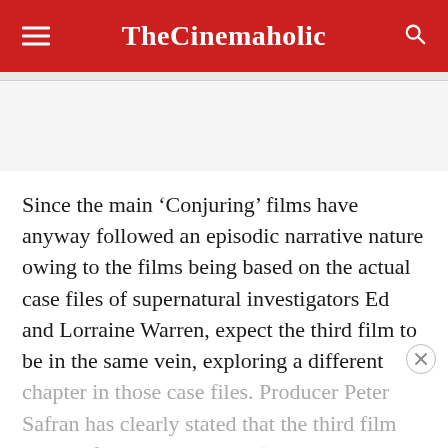TheCinemaholic
Since the main ‘Conjuring’ films have anyway followed an episodic narrative nature owing to the films being based on the actual case files of supernatural investigators Ed and Lorraine Warren, expect the third film to be in the same vein, exploring a different chapter in those case files. Producer Peter Safran has clearly stated that the third film most definitely won’t be a “haunted house”